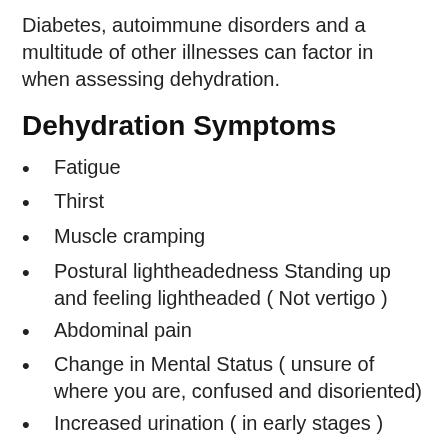Diabetes, autoimmune disorders and a multitude of other illnesses can factor in when assessing dehydration.
Dehydration Symptoms
Fatigue
Thirst
Muscle cramping
Postural lightheadedness Standing up and feeling lightheaded ( Not vertigo )
Abdominal pain
Change in Mental Status ( unsure of where you are, confused and disoriented)
Increased urination ( in early stages )